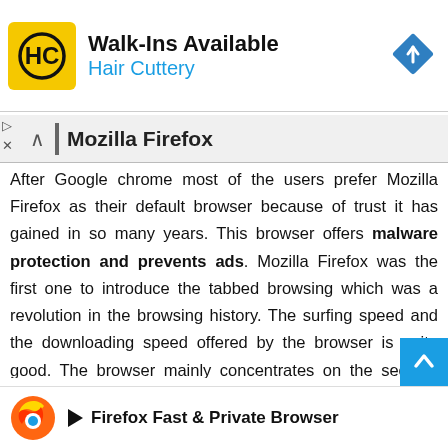[Figure (other): Hair Cuttery advertisement banner with HC logo and navigation arrow icon. Text: Walk-Ins Available / Hair Cuttery]
Mozilla Firefox
After Google chrome most of the users prefer Mozilla Firefox as their default browser because of trust it has gained in so many years. This browser offers malware protection and prevents ads. Mozilla Firefox was the first one to introduce the tabbed browsing which was a revolution in the browsing history. The surfing speed and the downloading speed offered by the browser is quite good. The browser mainly concentrates on the security part. This browser was launched back ago in 2002. After Google chrome Mozilla Firefox is second which is having the most number of users.
[Figure (other): Firefox Fast & Private Browser advertisement at the bottom with Firefox flame logo icon]